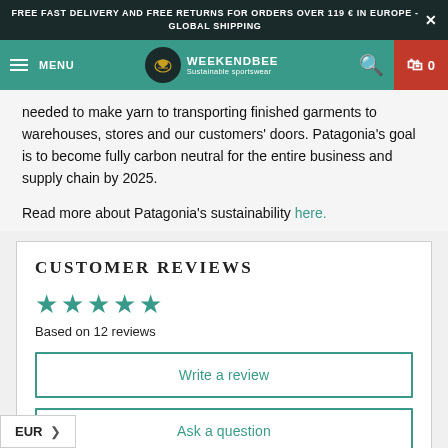FREE FAST DELIVERY AND FREE RETURNS FOR ORDERS OVER 119 € IN EUROPE - GLOBAL SHIPPING
[Figure (screenshot): Weekendbee navigation bar with logo, menu, search and cart icons]
needed to make yarn to transporting finished garments to warehouses, stores and our customers' doors. Patagonia's goal is to become fully carbon neutral for the entire business and supply chain by 2025.
Read more about Patagonia's sustainability here.
CUSTOMER REVIEWS
Based on 12 reviews
Write a review
Ask a question